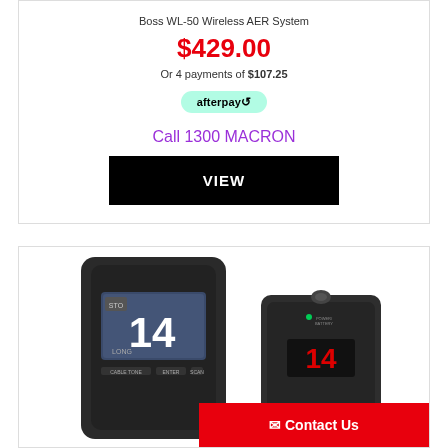Boss WL-50 Wireless AER System
$429.00
Or 4 payments of $107.25
[Figure (logo): Afterpay badge/logo in mint green rounded rectangle]
Call 1300 MACRON
VIEW
[Figure (photo): Two Boss WL-50 wireless units: a transmitter/receiver unit on the left showing a display screen with channel 14 and LONG mode, and a smaller transmitter unit on the right with a red channel 14 display]
Contact Us